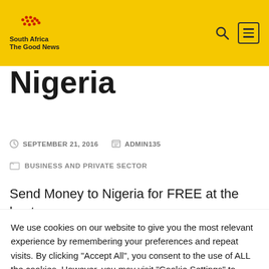South Africa The Good News
Nigeria
SEPTEMBER 21, 2016   ADMIN135
BUSINESS AND PRIVATE SECTOR
Send Money to Nigeria for FREE at the best
NGN exchange ratessend money to nigeria
We use cookies on our website to give you the most relevant experience by remembering your preferences and repeat visits. By clicking "Accept All", you consent to the use of ALL the cookies. However, you may visit "Cookie Settings" to provide a controlled consent.
Cookie Settings   Accept All